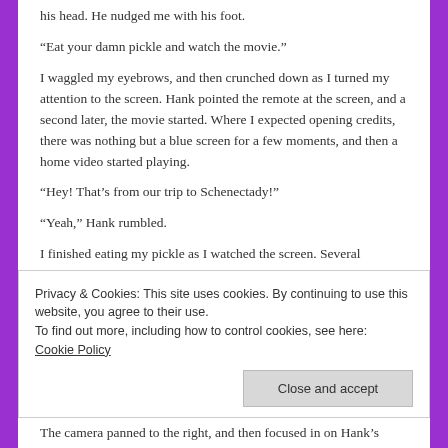his head.  He nudged me with his foot.
“Eat your damn pickle and watch the movie.”
I waggled my eyebrows, and then crunched down as I turned my attention to the screen.  Hank pointed the remote at the screen, and a second later, the movie started.  Where I expected opening credits, there was nothing but a blue screen for a few moments, and then a home video started playing.
“Hey!  That’s from our trip to Schenectady!”
“Yeah,” Hank rumbled.
I finished eating my pickle as I watched the screen.  Several
Privacy & Cookies: This site uses cookies. By continuing to use this website, you agree to their use.
To find out more, including how to control cookies, see here:
Cookie Policy
The camera panned to the right, and then focused in on Hank’s